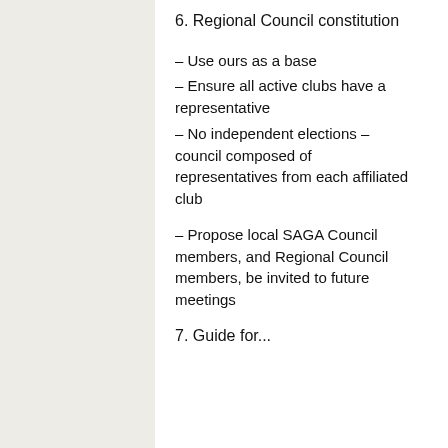6. Regional Council constitution
– Use ours as a base
– Ensure all active clubs have a representative
– No independent elections – council composed of representatives from each affiliated club
– Propose local SAGA Council members, and Regional Council members, be invited to future meetings
7. Guide for...